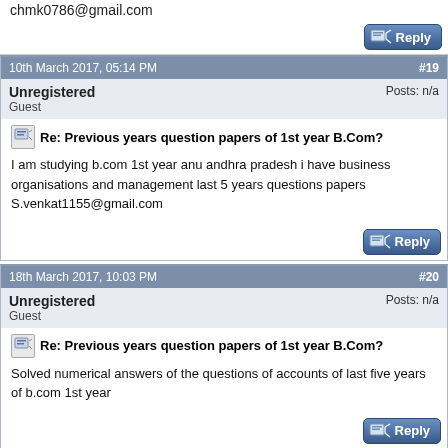chmk0786@gmail.com
10th March 2017, 05:14 PM #19
Unregistered
Guest
Posts: n/a
Re: Previous years question papers of 1st year B.Com?
I am studying b.com 1st year anu andhra pradesh i have business organisations and management last 5 years questions papers S.venkat1155@gmail.com
18th March 2017, 10:03 PM #20
Unregistered
Guest
Posts: n/a
Re: Previous years question papers of 1st year B.Com?
Solved numerical answers of the questions of accounts of last five years of b.com 1st year
20th March 2017, 05:38 PM #21